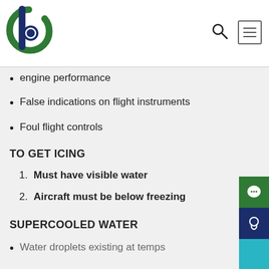[logo: b] [search icon] [menu icon]
engine performance
False indications on flight instruments
Foul flight controls
TO GET ICING
1. Must have visible water
2. Aircraft must be below freezing
SUPERCOOLED WATER
Water droplets existing at temps